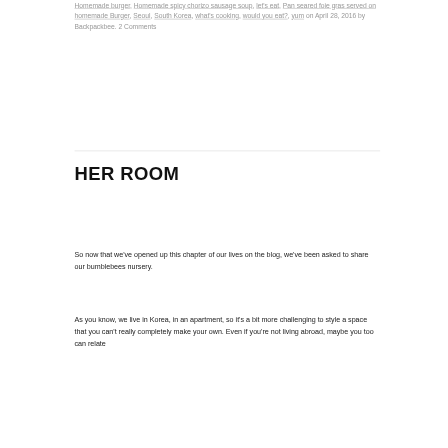Homemade burger, Homemade spicy chorizo sausage soup, let's eat, Pan seared foie gras served on homemade Burger, Seoul, South Korea, what's cooking, would you eat?, yum on April 28, 2016 by Backpackbee. 2 Comments
HER ROOM
So now that we've opened up this chapter of our lives on the blog, we've been asked to share our bumblebees nursery.
As you know, we live in Korea, in an apartment, so it's a bit more challenging to style a space that you can't really completely make your own. Even if you're not living abroad, maybe you too can relate